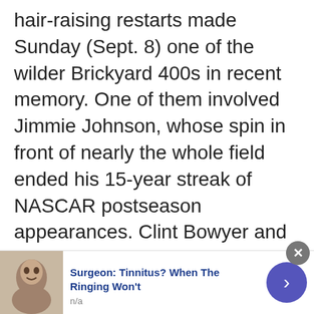hair-raising restarts made Sunday (Sept. 8) one of the wilder Brickyard 400s in recent memory. One of them involved Jimmie Johnson, whose spin in front of nearly the whole field ended his 15-year streak of NASCAR postseason appearances. Clint Bowyer and Ryan Newman were then able to ...
Read more
Cup Series, Featured Content, Thinkin' Out Loud, Tom Bowles
[Figure (other): Advertisement bar at the bottom: thumbnail image of a person, ad title 'Surgeon: Tinnitus? When The Ringing Won't', subtitle 'n/a', close button (x), and a purple arrow button.]